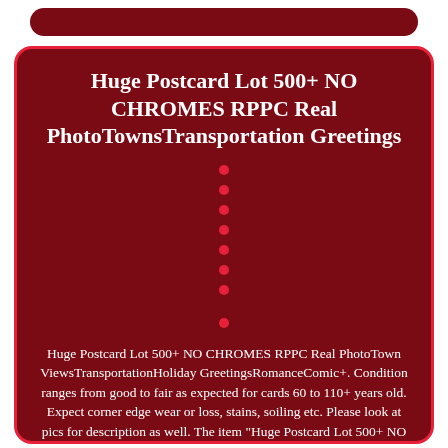Huge Postcard Lot 500+ NO CHROMES RPPC Real PhotoTownsTransportation Greetings
Huge Postcard Lot 500+ NO CHROMES RPPC Real PhotoTown ViewsTransportationHoliday GreetingsRomanceComic+. Condition ranges from good to fair as expected for cards 60 to 110+ years old. Expect corner edge wear or loss, stains, soiling etc. Please look at pics for description as well. The item "Huge Postcard Lot 500+ NO CHROMES RPPC Real PhotoTownsTransportation Greetings"